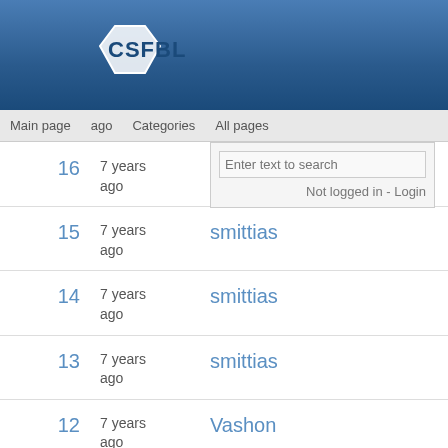[Figure (logo): CSFBL logo with house/diamond shape and text 'CSFBL' in white on blue header background]
Main page   Categories   All pages
| # | Time | User |
| --- | --- | --- |
| 16 | 7 years ago | csfbl... Disp... |
| 15 | 7 years ago | smittias |
| 14 | 7 years ago | smittias |
| 13 | 7 years ago | smittias |
| 12 | 7 years ago | Vashon |
| 11 | 7 years ago | Vashon |
| 10 | 7 years ago | smittias |